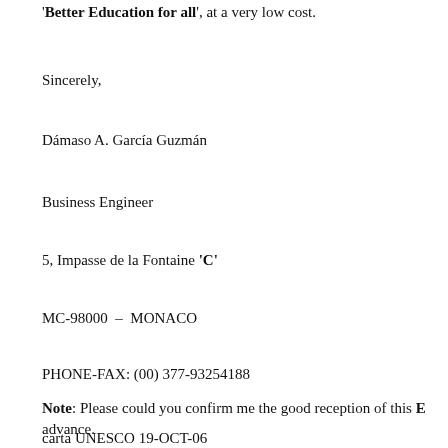'Better Education for all', at a very low cost.
Sincerely,
Dámaso A. García Guzmán
Business Engineer
5, Impasse de la Fontaine 'C'
MC-98000  –  MONACO
PHONE-FAX: (00) 377-93254188
Note: Please could you confirm me the good reception of this E… advance.
carta UNESCO 19-OCT-06